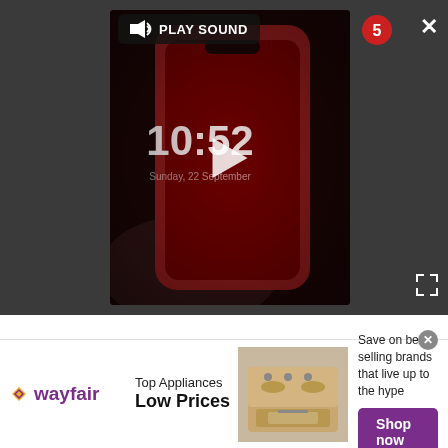[Figure (screenshot): Video player overlay showing a smartphone with a red screen displaying 10:52, with a play button in the center, a PLAY SOUND button in top-left, a close (X) button in top-right, and a fullscreen expand button in bottom-right. Dark gray background.]
[Figure (screenshot): Wayfair advertisement banner: Wayfair logo on left, 'Top Appliances Low Prices' text, image of a stove/range appliance, and 'Save on best selling brands that live up to the hype' with a purple 'Shop now' button.]